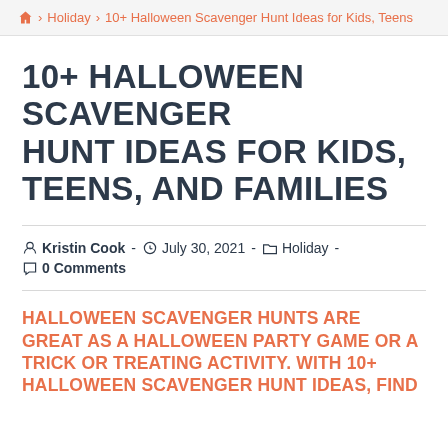🏠 > Holiday > 10+ Halloween Scavenger Hunt Ideas for Kids, Teens
10+ HALLOWEEN SCAVENGER HUNT IDEAS FOR KIDS, TEENS, AND FAMILIES
Kristin Cook - July 30, 2021 - Holiday - 0 Comments
HALLOWEEN SCAVENGER HUNTS ARE GREAT AS A HALLOWEEN PARTY GAME OR A TRICK OR TREATING ACTIVITY. WITH 10+ HALLOWEEN SCAVENGER HUNT IDEAS, FIND